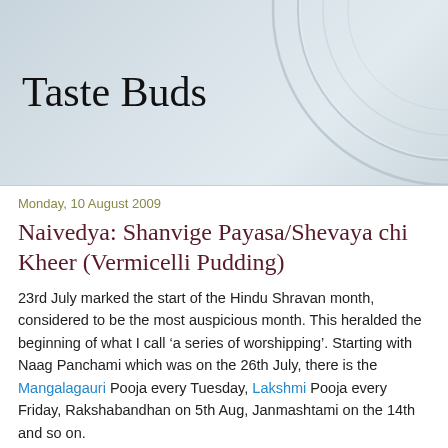Taste Buds
Monday, 10 August 2009
Naivedya: Shanvige Payasa/Shevaya chi Kheer (Vermicelli Pudding)
23rd July marked the start of the Hindu Shravan month, considered to be the most auspicious month. This heralded the beginning of what I call ‘a series of worshipping’. Starting with Naag Panchami which was on the 26th July, there is the Mangalagauri Pooja every Tuesday, Lakshmi Pooja every Friday, Rakshabandhan on 5th Aug, Janmashtami on the 14th and so on.
Now Festivals or Pooja call for special food items made with some restrictions, the major one being that the use of Onion & Garlic is prohibited. There are others as well, e.g. Tomato & Brinjal can not be used for a Naivedya item. But the No-